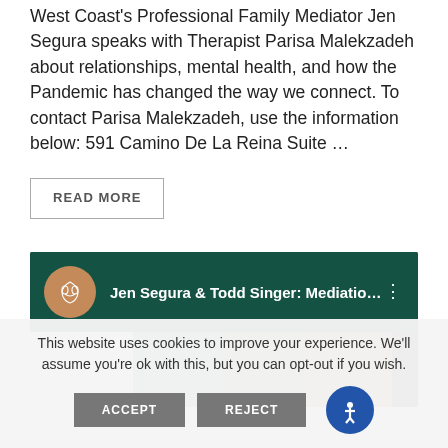West Coast's Professional Family Mediator Jen Segura speaks with Therapist Parisa Malekzadeh about relationships, mental health, and how the Pandemic has changed the way we connect. To contact Parisa Malekzadeh, use the information below: 591 Camino De La Reina Suite …
READ MORE
[Figure (screenshot): Video thumbnail showing 'Jen Segura & Todd Singer: Mediatio…' with a lotus icon circle, dark teal header, colorful strip background]
This website uses cookies to improve your experience. We'll assume you're ok with this, but you can opt-out if you wish.
ACCEPT
REJECT